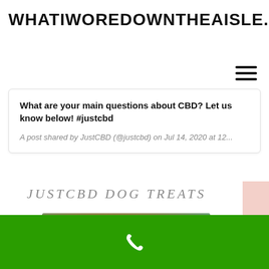WHATIWOREDOWNTHEAISLE.COM
What are your main questions about CBD? Let us know below! #justcbd
A post shared by JustCBD (@justcbd) on Jul 14, 2020 at 12...
JUSTCBD DOG TREATS
[Figure (photo): Photo of a golden retriever dog lying down, viewed from above/front, with blurred outdoor background]
[Figure (other): Green phone bar at the bottom with a white phone handset icon]